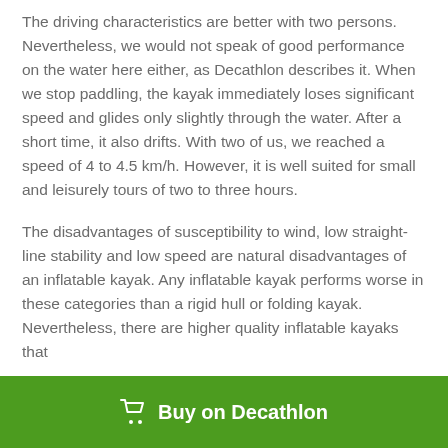The driving characteristics are better with two persons. Nevertheless, we would not speak of good performance on the water here either, as Decathlon describes it. When we stop paddling, the kayak immediately loses significant speed and glides only slightly through the water. After a short time, it also drifts. With two of us, we reached a speed of 4 to 4.5 km/h. However, it is well suited for small and leisurely tours of two to three hours.
The disadvantages of susceptibility to wind, low straight-line stability and low speed are natural disadvantages of an inflatable kayak. Any inflatable kayak performs worse in these categories than a rigid hull or folding kayak. Nevertheless, there are higher quality inflatable kayaks that
Buy on Decathlon